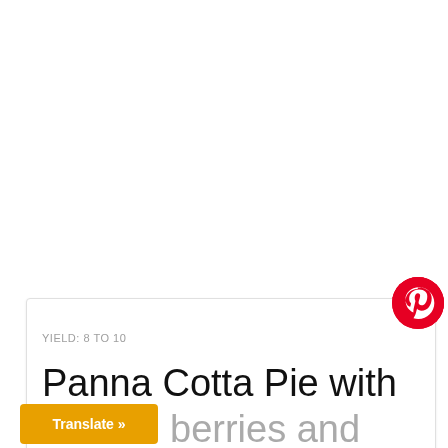YIELD: 8 TO 10
Panna Cotta Pie with
berries and
[Figure (logo): Pinterest circular red logo button with white P icon]
Translate »